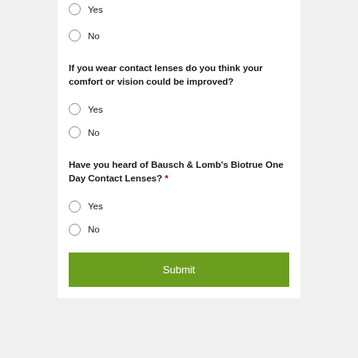Yes
No
If you wear contact lenses do you think your comfort or vision could be improved?
Yes
No
Have you heard of Bausch & Lomb's Biotrue One Day Contact Lenses? *
Yes
No
Submit